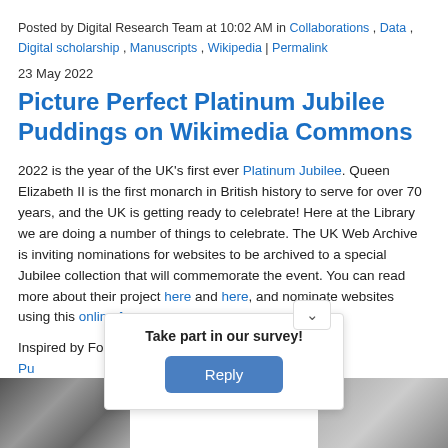Posted by Digital Research Team at 10:02 AM in Collaborations , Data , Digital scholarship , Manuscripts , Wikipedia | Permalink
23 May 2022
Picture Perfect Platinum Jubilee Puddings on Wikimedia Commons
2022 is the year of the UK's first ever Platinum Jubilee. Queen Elizabeth II is the first monarch in British history to serve for over 70 years, and the UK is getting ready to celebrate! Here at the Library we are doing a number of things to celebrate. The UK Web Archive is inviting nominations for websites to be archived to a special Jubilee collection that will commemorate the event. You can read more about their project here and here, and nominate websites using this online form.
Inspired by Fortnum & Mason's Platinum Jubilee Pudding Competition, in Digital S... es of your celebrator...
[Figure (screenshot): Survey overlay popup with 'Take part in our survey!' heading and a blue 'Reply' button]
[Figure (photo): Black and white photo strip at the bottom left of the page]
[Figure (photo): Grey photo at bottom right of the page]